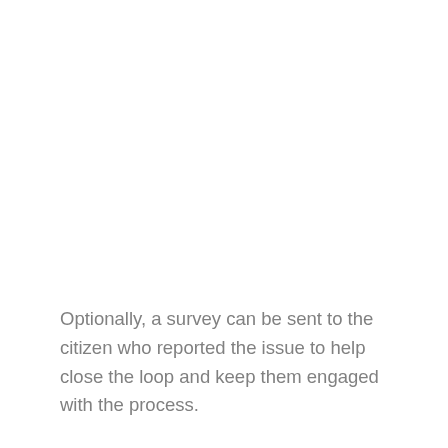Optionally, a survey can be sent to the citizen who reported the issue to help close the loop and keep them engaged with the process.